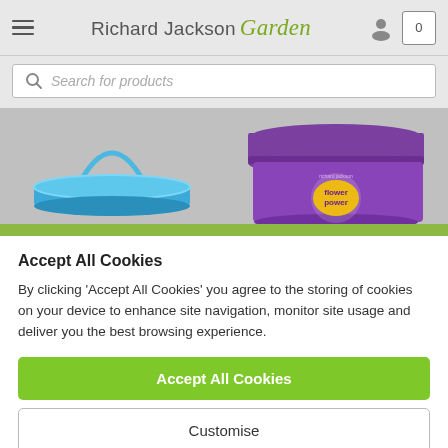Richard Jackson Garden
Search for products
[Figure (photo): Product image area showing a blue bucket/feeder on the left and a purple Flower Power bucket on the right, against a grey background]
Accept All Cookies
By clicking 'Accept All Cookies' you agree to the storing of cookies on your device to enhance site navigation, monitor site usage and deliver you the best browsing experience.
Accept All Cookies
Customise